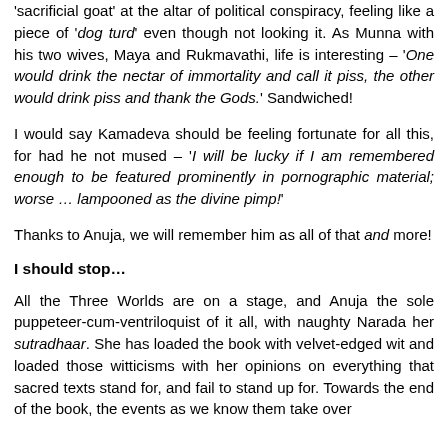'sacrificial goat' at the altar of political conspiracy, feeling like a piece of 'dog turd' even though not looking it. As Munna with his two wives, Maya and Rukmavathi, life is interesting – 'One would drink the nectar of immortality and call it piss, the other would drink piss and thank the Gods.' Sandwiched!
I would say Kamadeva should be feeling fortunate for all this, for had he not mused – 'I will be lucky if I am remembered enough to be featured prominently in pornographic material; worse … lampooned as the divine pimp!'
Thanks to Anuja, we will remember him as all of that and more!
I should stop…
All the Three Worlds are on a stage, and Anuja the sole puppeteer-cum-ventriloquist of it all, with naughty Narada her sutradhaar. She has loaded the book with velvet-edged wit and loaded those witticisms with her opinions on everything that sacred texts stand for, and fail to stand up for. Towards the end of the book, the events as we know them take over